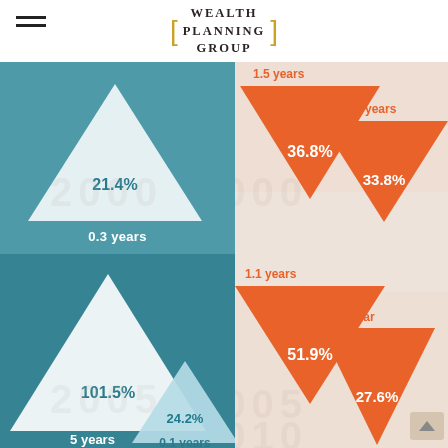[Figure (logo): Wealth Planning Group logo with gold square brackets]
[Figure (infographic): Up/down triangle infographic showing gain/loss percentages and durations for market periods around 2000, 2005, 2010. Left column teal up-triangles: 21.4% gain (0.3 years), 101.5% gain (5 years), 24.2% gain (0.1 years). Right column orange down-triangles: 36.8% loss (1.5 years), 33.8% loss (0.8 years), 51.9% loss (1.1 years), 27.6% loss (1 year).]